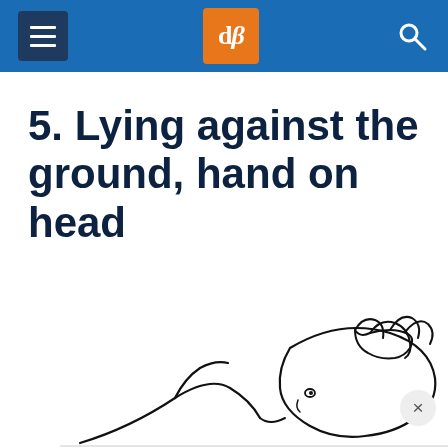dPS (digital photography school) navigation header
5. Lying against the ground, hand on head
[Figure (illustration): Line drawing illustration of a person lying on the ground with hand on head, viewed from above. Shows the figure's body from behind with arm/hand resting on top of their head.]